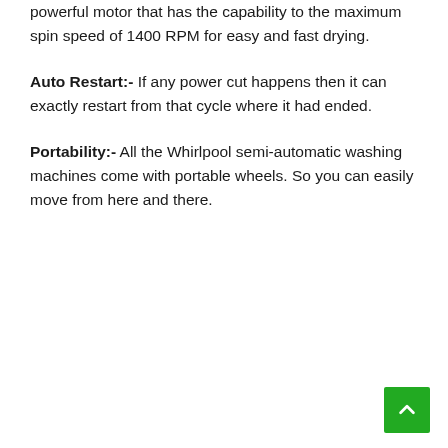powerful motor that has the capability to the maximum spin speed of 1400 RPM for easy and fast drying.
Auto Restart:- If any power cut happens then it can exactly restart from that cycle where it had ended.
Portability:- All the Whirlpool semi-automatic washing machines come with portable wheels. So you can easily move from here and there.